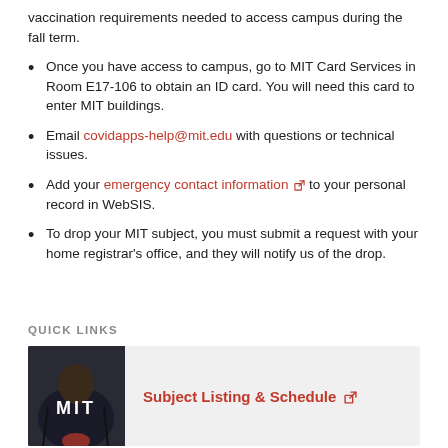vaccination requirements needed to access campus during the fall term.
Once you have access to campus, go to MIT Card Services in Room E17-106 to obtain an ID card. You will need this card to enter MIT buildings.
Email covidapps-help@mit.edu with questions or technical issues.
Add your emergency contact information [external link] to your personal record in WebSIS.
To drop your MIT subject, you must submit a request with your home registrar's office, and they will notify us of the drop.
QUICK LINKS
[Figure (photo): Photo of a person wearing an MIT sweatshirt, dark background]
Subject Listing & Schedule [external link]